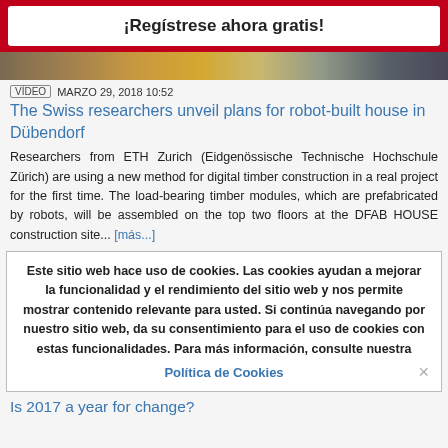¡Regístrese ahora gratis!
[Figure (photo): Article thumbnail image strip showing construction/building scene]
VÍDEO  MARZO 29, 2018 10:52
The Swiss researchers unveil plans for robot-built house in Dübendorf
Researchers from ETH Zurich (Eidgenössische Technische Hochschule Zürich) are using a new method for digital timber construction in a real project for the first time. The load-bearing timber modules, which are prefabricated by robots, will be assembled on the top two floors at the DFAB HOUSE construction site... [más...]
Este sitio web hace uso de cookies. Las cookies ayudan a mejorar la funcionalidad y el rendimiento del sitio web y nos permite mostrar contenido relevante para usted. Si continúa navegando por nuestro sitio web, da su consentimiento para el uso de cookies con estas funcionalidades. Para más información, consulte nuestra Política de Cookies
Is 2017 a year for change?